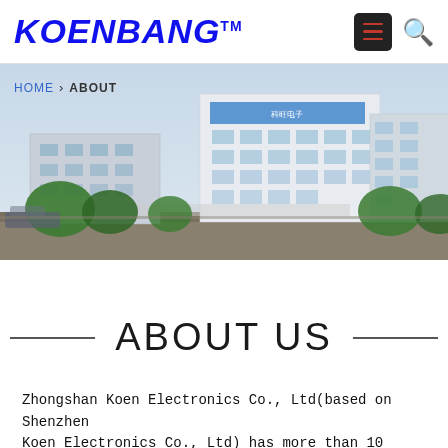KOENBANG™
HOME > ABOUT
[Figure (photo): Exterior photo of a multi-story modern commercial building (Zhongshan Koen Electronics facility), with trees in foreground and overcast sky.]
ABOUT US
Zhongshan Koen Electronics Co., Ltd(based on Shenzhen Koen Electronics Co., Ltd) has more than 10 years